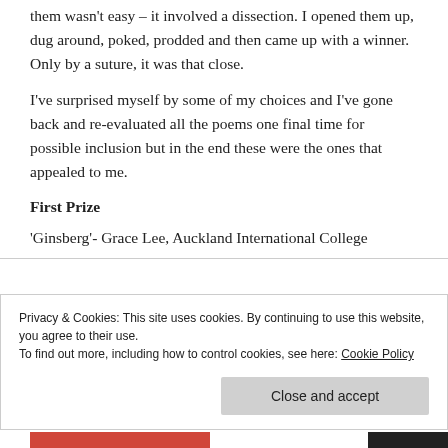them wasn't easy – it involved a dissection. I opened them up, dug around, poked, prodded and then came up with a winner. Only by a suture, it was that close.
I've surprised myself by some of my choices and I've gone back and re-evaluated all the poems one final time for possible inclusion but in the end these were the ones that appealed to me.
First Prize
'Ginsberg'- Grace Lee, Auckland International College
Privacy & Cookies: This site uses cookies. By continuing to use this website, you agree to their use.
To find out more, including how to control cookies, see here: Cookie Policy
Close and accept